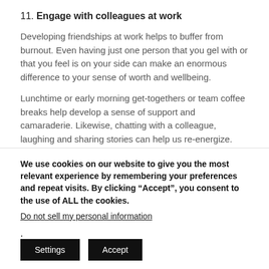11. Engage with colleagues at work
Developing friendships at work helps to buffer from burnout. Even having just one person that you gel with or that you feel is on your side can make an enormous difference to your sense of worth and wellbeing.
Lunchtime or early morning get-togethers or team coffee breaks help develop a sense of support and camaraderie. Likewise, chatting with a colleague, laughing and sharing stories can help us re-energize.
We use cookies on our website to give you the most relevant experience by remembering your preferences and repeat visits. By clicking “Accept”, you consent to the use of ALL the cookies.
Do not sell my personal information.